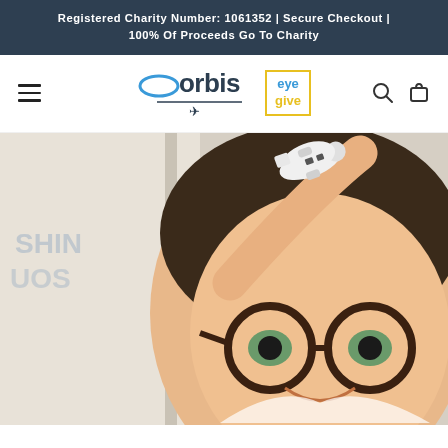Registered Charity Number: 1061352 | Secure Checkout | 100% Of Proceeds Go To Charity
[Figure (logo): Orbis Eye Give charity navigation bar with hamburger menu, Orbis Flying Eye Hospital logo, Eye Give logo in yellow border box, search icon, and cart icon]
[Figure (photo): A young Asian child wearing round dark-framed glasses, smiling and holding up a white model airplane toy resembling the Orbis Flying Eye Hospital aircraft]